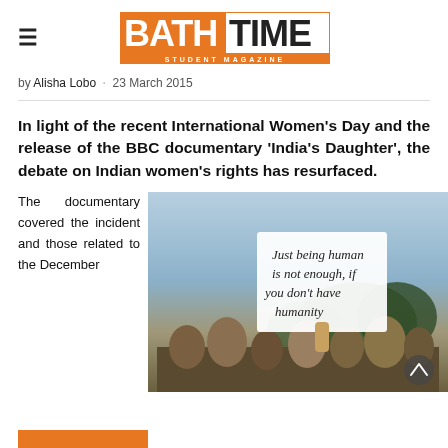BATH TIME STUDENT MAGAZINE
by Alisha Lobo · 23 March 2015
In light of the recent International Women's Day and the release of the BBC documentary 'India's Daughter', the debate on Indian women's rights has resurfaced.
The documentary covered the incident and those related to the December
[Figure (photo): Protest photo showing a person holding a sign reading 'Just being human is not enough, if you don't have humanity']